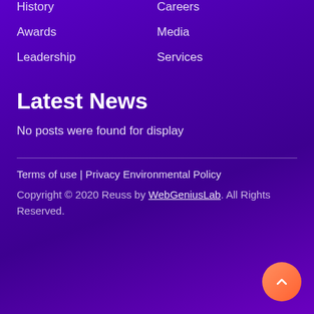History
Careers
Awards
Media
Leadership
Services
Latest News
No posts were found for display
Terms of use | Privacy Environmental Policy
Copyright © 2020 Reuss by WebGeniusLab. All Rights Reserved.